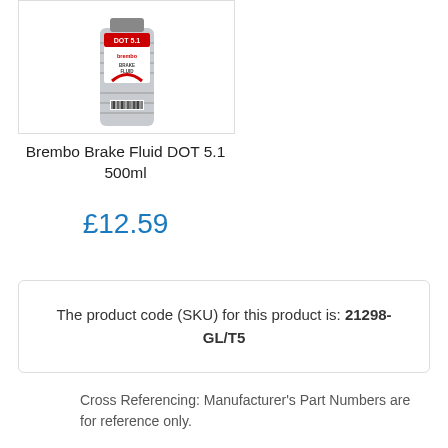[Figure (photo): Brembo Brake Fluid DOT 5.1 500ml bottle product image, grey plastic bottle with red and white label]
Brembo Brake Fluid DOT 5.1 500ml
£12.59
The product code (SKU) for this product is: 21298-GL/T5
Cross Referencing: Manufacturer's Part Numbers are for reference only.